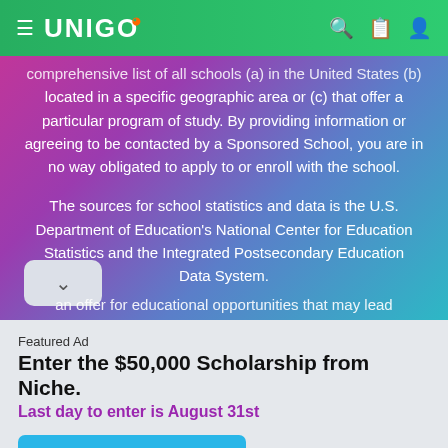UNIGO
comprehensive list of all schools (a) in the United States (b) located in a specific geographic area or (c) that offer a particular program of study. By providing information or agreeing to be contacted by a Sponsored School, you are in no way obligated to apply to or enroll with the school.
The sources for school statistics and data is the U.S. Department of Education's National Center for Education Statistics and the Integrated Postsecondary Education Data System.
an offer for educational opportunities that may lead
Featured Ad
Enter the $50,000 Scholarship from Niche.
Last day to enter is August 31st
APPLY NOW!